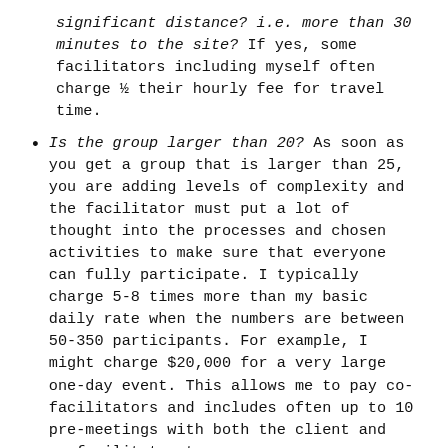significant distance? i.e. more than 30 minutes to the site? If yes, some facilitators including myself often charge ½ their hourly fee for travel time.
Is the group larger than 20? As soon as you get a group that is larger than 25, you are adding levels of complexity and the facilitator must put a lot of thought into the processes and chosen activities to make sure that everyone can fully participate. I typically charge 5-8 times more than my basic daily rate when the numbers are between 50-350 participants. For example, I might charge $20,000 for a very large one-day event. This allows me to pay co-facilitators and includes often up to 10 pre-meetings with both the client and co-facilitator team.
Is there a lot of pre-work required before the event? Recently I helped a group complete their strategic planning and I assisted 5 different subgroups with some pre-event thinking. This can